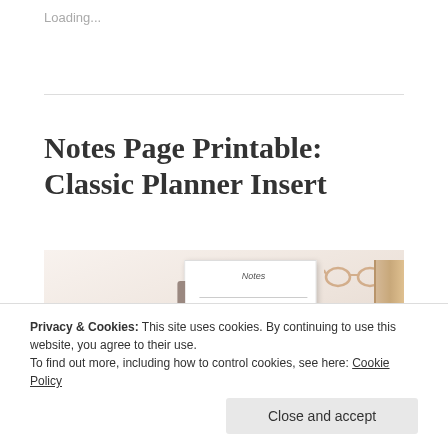Loading...
Notes Page Printable: Classic Planner Insert
[Figure (photo): Photo of an open planner/notebook with 'Notes' header on a white fluffy surface, alongside a pink marble notebook cover, a pen, and glasses in the background]
Privacy & Cookies: This site uses cookies. By continuing to use this website, you agree to their use.
To find out more, including how to control cookies, see here: Cookie Policy
Close and accept